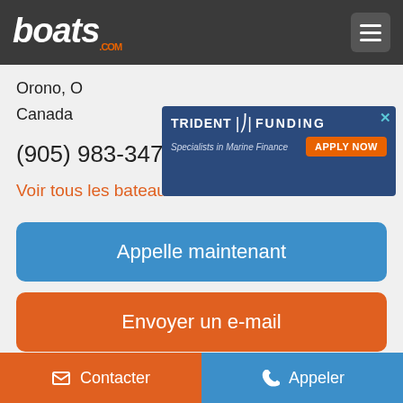[Figure (logo): boats.com logo in white italic bold text on dark gray header bar]
[Figure (screenshot): Trident Funding advertisement banner - blue background with white text 'TRIDENT FUNDING', subtitle 'Specialists in Marine Finance', orange 'APPLY NOW' button, boat image]
Orono, O
Canada
(905) 983-3474
Voir tous les bateaux de ce vendeur
Appelle maintenant
Envoyer un e-mail
Contacter
Appeler